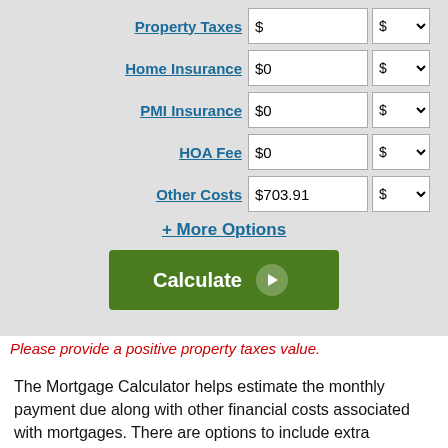Property Taxes $ [input] $ [dropdown]
Home Insurance $0 $ [dropdown]
PMI Insurance $0 $ [dropdown]
HOA Fee $0 $ [dropdown]
Other Costs $703.91 $ [dropdown]
+ More Options
Calculate
Please provide a positive property taxes value.
The Mortgage Calculator helps estimate the monthly payment due along with other financial costs associated with mortgages. There are options to include extra payments or annual percentage increases of common